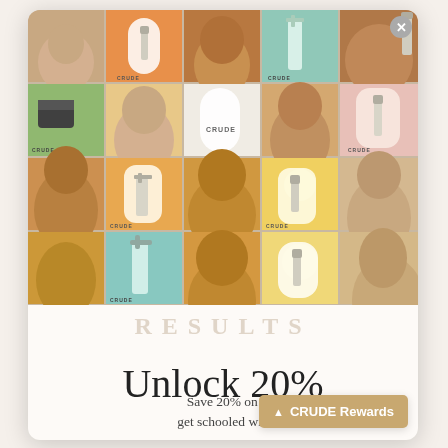[Figure (photo): A collage of CRUDE skincare brand images showing diverse people's faces interspersed with product shots on colorful backgrounds (orange, teal, peach, mint). Products are dropper bottles, pumps, and jars with CRUDE branding.]
Unlock 20%
Save 20% on your f... get schooled with the S...
CRUDE Rewards